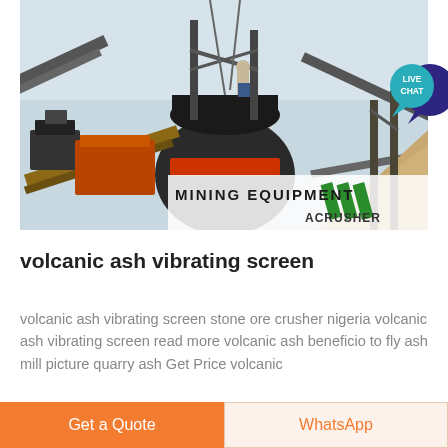[Figure (photo): Mining equipment / industrial crusher machinery at a quarry site, with a worker standing on the machinery. In the lower-right corner a watermark overlay reads 'MINING EQUIPMENT ACRUSHER' with green diagonal stripe logo.]
volcanic ash vibrating screen
volcanic ash vibrating screen stone ore crusher nigeria volcanic ash vibrating screen read more volcanic ash beneficio to fly ash mill picture quarry ash Get Price volcanic
Get a Quote
WhatsApp